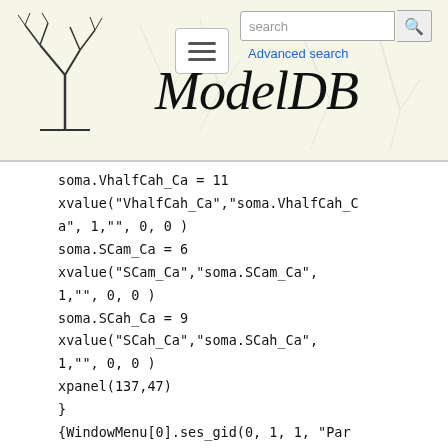[Figure (logo): ModelDB website header with neuron tree logo on left, hamburger menu, search box, Advanced search link, and ModelDB italic title text]
soma.VhalfCah_Ca = 11
xvalue("VhalfCah_Ca","soma.VhalfCah_Ca", 1,"", 0, 0 )
soma.SCam_Ca = 6
xvalue("SCam_Ca","soma.SCam_Ca", 1,"", 0, 0 )
soma.SCah_Ca = 9
xvalue("SCah_Ca","soma.SCah_Ca", 1,"", 0, 0 )
xpanel(137,47)
}
{WindowMenu[0].ses_gid(0, 1, 1, "Para")}
{
xpanel("soma(0 - 1) (Parameters)", 0)
xlabel("para set 2 --  CaD channels")
soma.depth_Cad = 10
xvalue("depth_Cad","soma.depth_Cad", 1,"", 0, 0 )
soma.taur Cad = 20